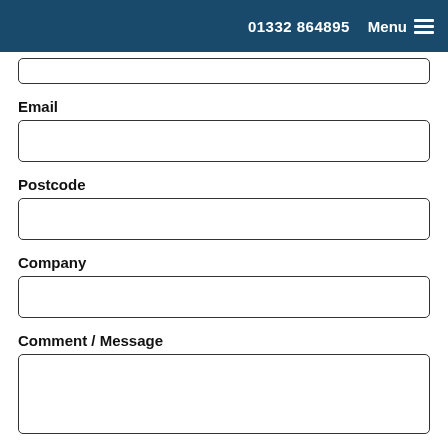01332 864895   Menu
Email
Postcode
Company
Comment / Message